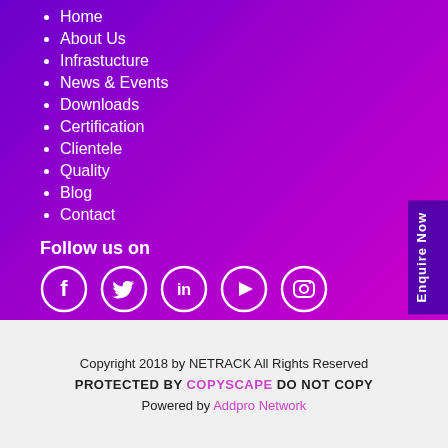Home
About Us
Infrastucture
News & Events
Downloads
Certification
Clientele
Quality
Blog
Contact
Follow us on
[Figure (illustration): Social media icons: Facebook, Twitter, LinkedIn, YouTube, Instagram — white circle outlines on purple background]
Copyright 2018 by NETRACK All Rights Reserved
PROTECTED BY COPYSCAPE DO NOT COPY
Powered by Addpro Network